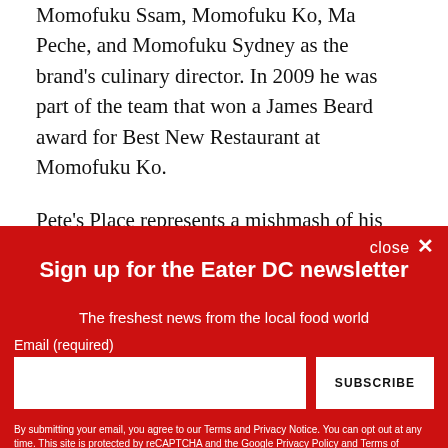Momofuku Ssam, Momofuku Ko, Ma Peche, and Momofuku Sydney as the brand's culinary director. In 2009 he was part of the team that won a James Beard award for Best New Restaurant at Momofuku Ko.
Pete's Place represents a mishmash of his native culture and stateside upbringing — a similar mantra that Chinese-American chef Tim Ma is following at his casual new [link]
Sign up for the Eater DC newsletter
The freshest news from the local food world
Email (required)
SUBSCRIBE
By submitting your email, you agree to our Terms and Privacy Notice. You can opt out at any time. This site is protected by reCAPTCHA and the Google Privacy Policy and Terms of Service apply.